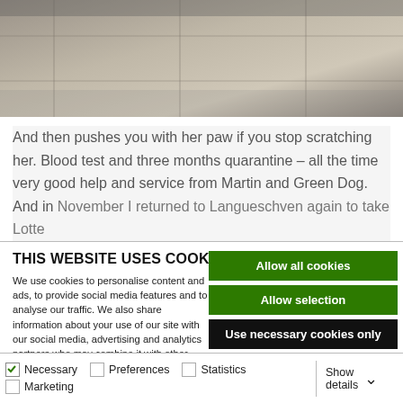[Figure (photo): Black and white photo of a tiled floor, partially visible at the top of the page]
And then pushes you with her paw if you stop scratching her. Blood test and three months quarantine – all the time very good help and service from Martin and Green Dog. And in November I returned to Langueschven again to take Lotte
THIS WEBSITE USES COOKIES
We use cookies to personalise content and ads, to provide social media features and to analyse our traffic. We also share information about your use of our site with our social media, advertising and analytics partners who may combine it with other information that you've provided to them or that they've collected from your use of their services.
Allow all cookies
Allow selection
Use necessary cookies only
Necessary   Preferences   Statistics   Marketing   Show details